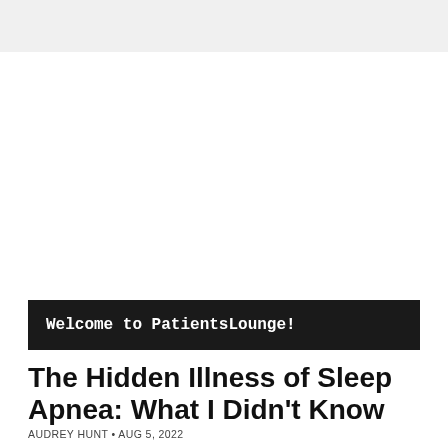Welcome to PatientsLounge!
The Hidden Illness of Sleep Apnea: What I Didn't Know
AUDREY HUNT • AUG 5, 2022